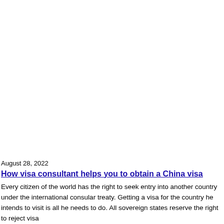August 28, 2022
How visa consultant helps you to obtain a China visa
Every citizen of the world has the right to seek entry into another country under the international consular treaty. Getting a visa for the country he intends to visit is all he needs to do. All sovereign states reserve the right to reject visa